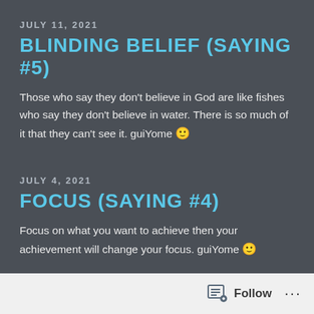JULY 11, 2021
BLINDING BELIEF (SAYING #5)
Those who say they don't believe in God are like fishes who say they don't believe in water. There is so much of it that they can't see it. guiYome 🙂
JULY 4, 2021
FOCUS (SAYING #4)
Focus on what you want to achieve then your achievement will change your focus. guiYome 🙂
Follow ...